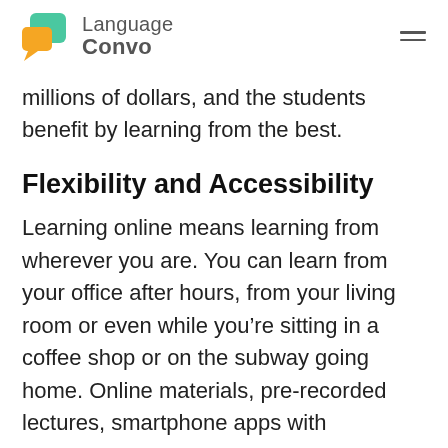Language Convo
millions of dollars, and the students benefit by learning from the best.
Flexibility and Accessibility
Learning online means learning from wherever you are. You can learn from your office after hours, from your living room or even while you’re sitting in a coffee shop or on the subway going home. Online materials, pre-recorded lectures, smartphone apps with